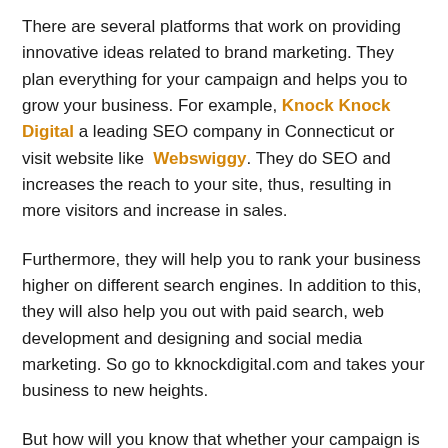There are several platforms that work on providing innovative ideas related to brand marketing. They plan everything for your campaign and helps you to grow your business. For example, Knock Knock Digital a leading SEO company in Connecticut or visit website like Webswiggy. They do SEO and increases the reach to your site, thus, resulting in more visitors and increase in sales.
Furthermore, they will help you to rank your business higher on different search engines. In addition to this, they will also help you out with paid search, web development and designing and social media marketing. So go to kknockdigital.com and takes your business to new heights.
But how will you know that whether your campaign is working effectively or not?